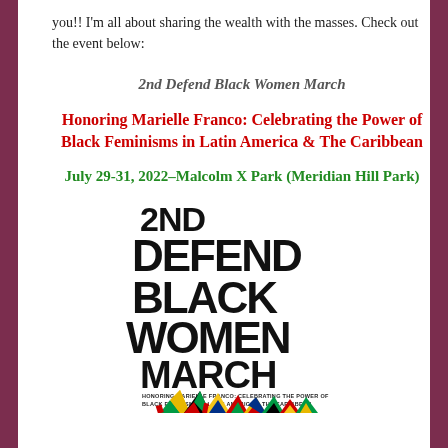you!! I'm all about sharing the wealth with the masses. Check out the event below:
2nd Defend Black Women March
Honoring Marielle Franco: Celebrating the Power of Black Feminisms in Latin America & The Caribbean
July 29-31, 2022–Malcolm X Park (Meridian Hill Park)
[Figure (illustration): Event poster for 2nd Defend Black Women March with large bold stacked text reading '2ND DEFEND BLACK WOMEN MARCH' and subtitle 'HONORING MARIELLE FRANCO: CELEBRATING THE POWER OF BLACK FEMINISMS IN LATIN AMERICA & THE CARIBBEAN', with colorful flags at the bottom.]